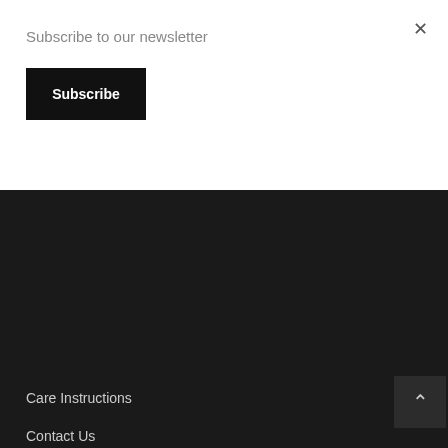Subscribe to our newsletter
Subscribe
×
Care Instructions
Contact Us
Showroom
Helpful Links
Cancelations, Returns and Exchange Policies
Shipping Guidelines
My Account
Privacy Policy